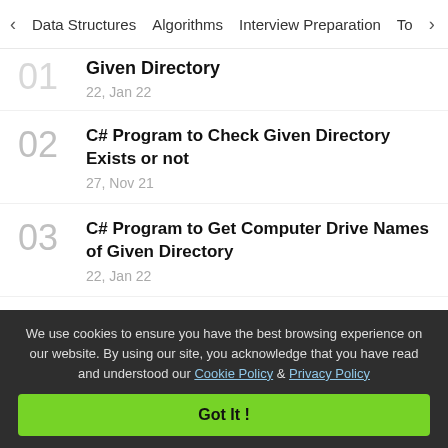< Data Structures   Algorithms   Interview Preparation   To>
Given Directory
22, Jan 22
C# Program to Check Given Directory Exists or not
27, Nov 21
C# Program to Get Computer Drive Names of Given Directory
22, Jan 22
C# Program to Get the List of Sub-Directories of a Given Directory
We use cookies to ensure you have the best browsing experience on our website. By using our site, you acknowledge that you have read and understood our Cookie Policy & Privacy Policy
Got It !